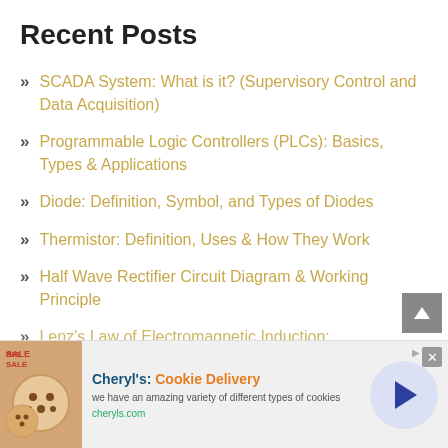Recent Posts
SCADA System: What is it? (Supervisory Control and Data Acquisition)
Programmable Logic Controllers (PLCs): Basics, Types & Applications
Diode: Definition, Symbol, and Types of Diodes
Thermistor: Definition, Uses & How They Work
Half Wave Rectifier Circuit Diagram & Working Principle
Lenz's Law of Electromagnetic Induction:
[Figure (other): Advertisement banner for Cheryl's Cookie Delivery showing cookies image, title 'Cheryl's: Cookie Delivery', description 'we have an amazing variety of different types of cookies', URL 'cheryls.com', and a blue circular arrow button]